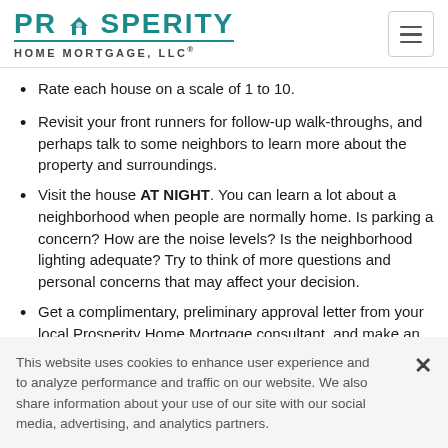[Figure (logo): Prosperity Home Mortgage, LLC logo with teal house icon and underline]
Rate each house on a scale of 1 to 10.
Revisit your front runners for follow-up walk-throughs, and perhaps talk to some neighbors to learn more about the property and surroundings.
Visit the house AT NIGHT. You can learn a lot about a neighborhood when people are normally home. Is parking a concern? How are the noise levels? Is the neighborhood lighting adequate? Try to think of more questions and personal concerns that may affect your decision.
Get a complimentary, preliminary approval letter from your local Prosperity Home Mortgage consultant, and make an offer on the house you love!
This website uses cookies to enhance user experience and to analyze performance and traffic on our website. We also share information about your use of our site with our social media, advertising, and analytics partners.